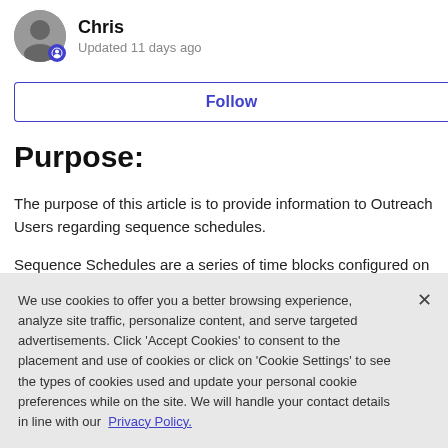Chris
Updated 11 days ago
Follow
Purpose:
The purpose of this article is to provide information to Outreach Users regarding sequence schedules.
Sequence Schedules are a series of time blocks configured on various calendar days that reflect time
We use cookies to offer you a better browsing experience, analyze site traffic, personalize content, and serve targeted advertisements. Click 'Accept Cookies' to consent to the placement and use of cookies or click on 'Cookie Settings' to see the types of cookies used and update your personal cookie preferences while on the site. We will handle your contact details in line with our Privacy Policy.